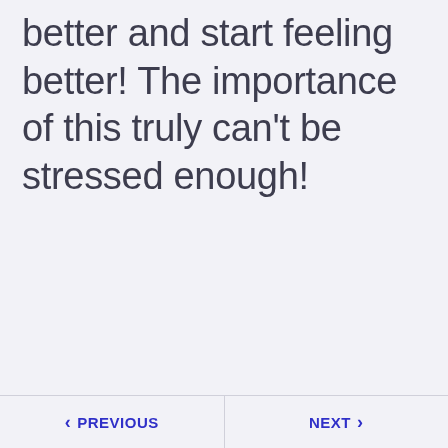better and start feeling better! The importance of this truly can't be stressed enough!
PREVIOUS   NEXT